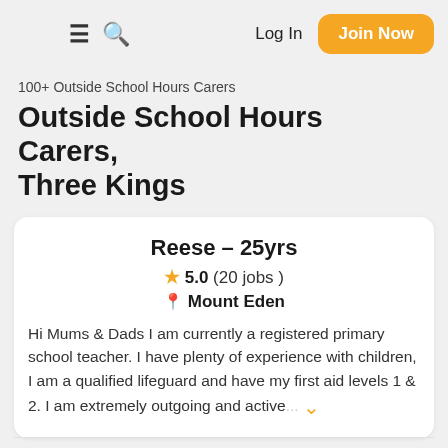≡ 🔍 Log In Join Now
100+ Outside School Hours Carers
Outside School Hours Carers, Three Kings
Reese - 25yrs
★ 5.0 (20 jobs)
📍 Mount Eden
Hi Mums & Dads I am currently a registered primary school teacher. I have plenty of experience with children, I am a qualified lifeguard and have my first aid levels 1 & 2. I am extremely outgoing and active...